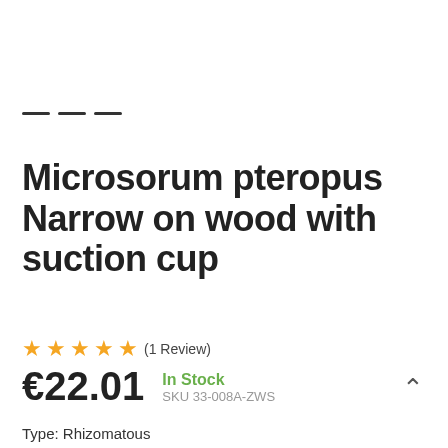[Figure (other): Breadcrumb navigation dashes (three short horizontal lines)]
Microsorum pteropus Narrow on wood with suction cup
★★★★★ (1 Review)
€22.01  In Stock  SKU 33-008A-ZWS
Type: Rhizomatous
Origin: Asia